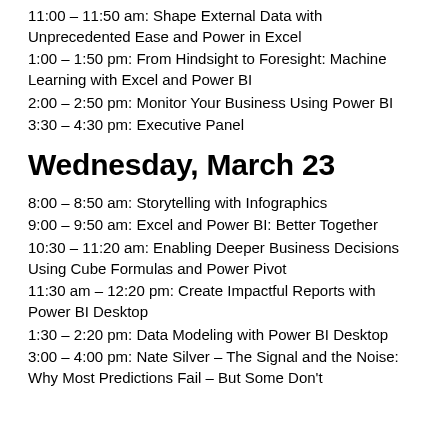11:00 – 11:50 am: Shape External Data with Unprecedented Ease and Power in Excel
1:00 – 1:50 pm: From Hindsight to Foresight: Machine Learning with Excel and Power BI
2:00 – 2:50 pm: Monitor Your Business Using Power BI
3:30 – 4:30 pm: Executive Panel
Wednesday, March 23
8:00 – 8:50 am: Storytelling with Infographics
9:00 – 9:50 am: Excel and Power BI: Better Together
10:30 – 11:20 am: Enabling Deeper Business Decisions Using Cube Formulas and Power Pivot
11:30 am – 12:20 pm: Create Impactful Reports with Power BI Desktop
1:30 – 2:20 pm: Data Modeling with Power BI Desktop
3:00 – 4:00 pm: Nate Silver – The Signal and the Noise: Why Most Predictions Fail – But Some Don't